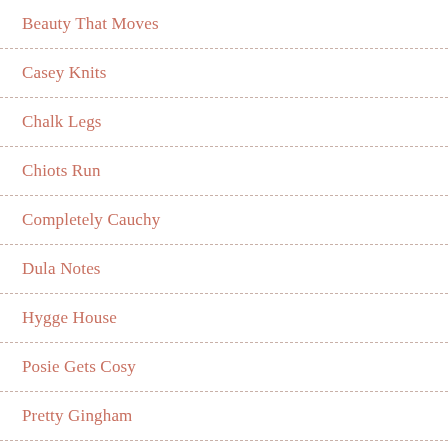Beauty That Moves
Casey Knits
Chalk Legs
Chiots Run
Completely Cauchy
Dula Notes
Hygge House
Posie Gets Cosy
Pretty Gingham